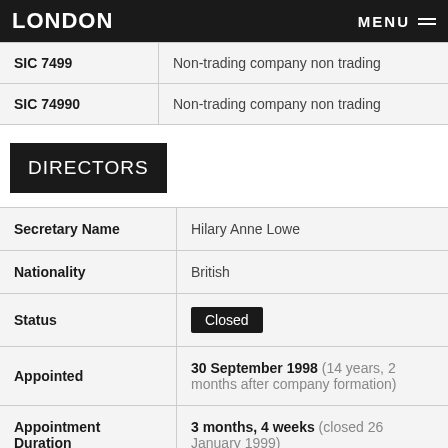LONDON  MENU
| Code | Description |
| --- | --- |
| SIC 7499 | Non-trading company non trading |
| SIC 74990 | Non-trading company non trading |
DIRECTORS
| Field | Value |
| --- | --- |
| Secretary Name | Hilary Anne Lowe |
| Nationality | British |
| Status | Closed |
| Appointed | 30 September 1998 (14 years, 2 months after company formation) |
| Appointment Duration | 3 months, 4 weeks  (closed 26 January 1999) |